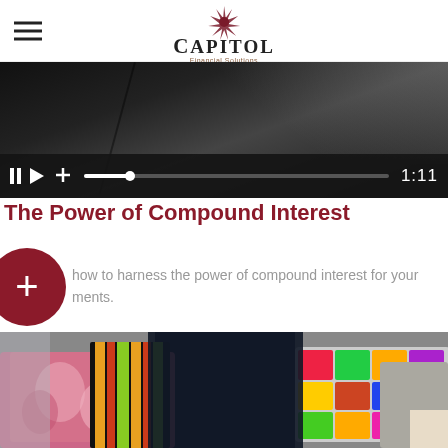Capitol Financial Solutions
[Figure (screenshot): Video player with dark background showing a video paused at 1:11, with playback controls including pause button, play button, volume icon, progress bar, and time display showing 1:11]
The Power of Compound Interest
how to harness the power of compound interest for your ments.
[Figure (photo): Person carrying multiple colorful shopping bags with gift wrapping patterns in pink, orange, green, and multicolor]